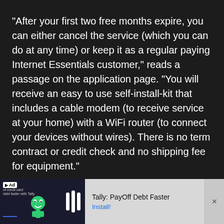“After your first two free months expire, you can either cancel the service (which you can do at any time) or keep it as a regular paying Internet Essentials customer,” reads a passage on the application page. “You will receive an easy to use self-install-kit that includes a cable modem (to receive service at your home) with a WiFi router (to connect your devices without wires). There is no term contract or credit check and no shipping fee for equipment.”
[Figure (other): Advertisement banner at bottom of screen for Tally: PayOff Debt Faster app, showing ad badge, small text about credit card debt, a mascot character, vertical bars logo, the text 'Tally: PayOff Debt Faster', an Install! link, and a close button.]